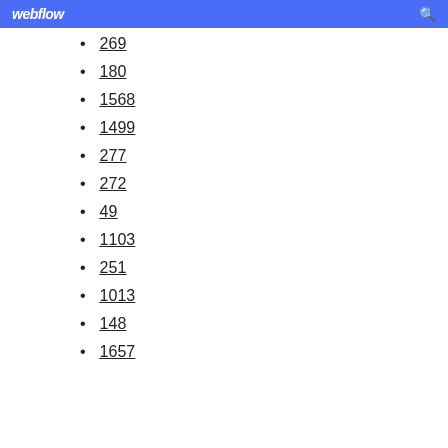webflow
269
180
1568
1499
277
272
49
1103
251
1013
148
1657